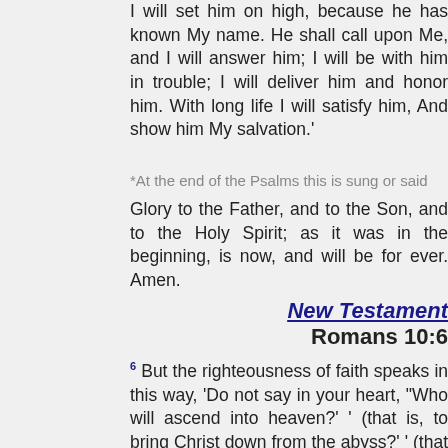I will set him on high, because he has known My name. He shall call upon Me, and I will answer him; I will be with him in trouble; I will deliver him and honor him. With long life I will satisfy him, And show him My salvation.'
*At the end of the Psalms this is sung or said
Glory to the Father, and to the Son, and to the Holy Spirit; as it was in the beginning, is now, and will be for ever. Amen.
New Testament
Romans 10:6
6 But the righteousness of faith speaks in this way, 'Do not say in your heart, "Who will ascend into heaven?"' (that is, to bring Christ down from above) 8 But what does it say? 'The word is near you, in your mouth and in your heart' (that is, the word of faith which we preach): 9 that if you confess with your mouth the Lord Jesus and believe in your heart that God has raised Him from the dead, you will be saved. 10 For with the heart one believes unto righteousness, and with the mouth confession is made unto salvation. 11 For the Scripture says, 'Whoever believes on Him will not be put to shame.' 12 For there is no distinction between Jew and Greek, for the same Lord over all is rich to all who call upon Him.